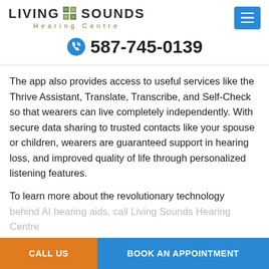[Figure (logo): Living Sounds Hearing Centre logo with green grid square icon between LIVING and SOUNDS text, and 'Hearing Centre' subtitle in gold/olive lettering]
[Figure (other): Blue hamburger menu button with three white horizontal lines]
587-745-0139
The app also provides access to useful services like the Thrive Assistant, Translate, Transcribe, and Self-Check so that wearers can live completely independently. With secure data sharing to trusted contacts like your spouse or children, wearers are guaranteed support in hearing loss, and improved quality of life through personalized listening features.
To learn more about the revolutionary technology behind AI hearing aids, call Living Sounds Hearing Centre at...
CALL US
BOOK AN APPOINTMENT